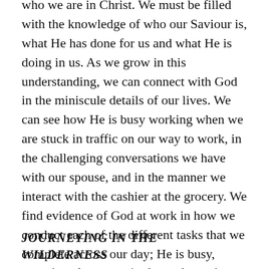who we are in Christ. We must be filled with the knowledge of who our Saviour is, what He has done for us and what He is doing in us. As we grow in this understanding, we can connect with God in the miniscule details of our lives. We can see how He is busy working when we are stuck in traffic on our way to work, in the challenging conversations we have with our spouse, and in the manner we interact with the cashier at the grocery. We find evidence of God at work in how we conduct each of the different tasks that we complete across our day; He is busy, restoring also our attitudes and emotions toward these tasks.
JOURNEYING IN THE WILDERNESS